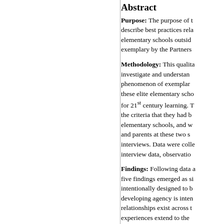Abstract
Purpose: The purpose of this study was to describe best practices related to exemplary elementary schools outside of schools deemed exemplary by the Partners...
Methodology: This qualitative study sought to investigate and understand the complex phenomenon of exemplary school practices at these elite elementary schools, and were prepared for 21st century learning. The criteria that they had been exemplary elementary schools, and were conducted with and parents at these two schools through interviews. Data were collected including interview data, observation...
Findings: Following data analysis, five findings emerged as significant: schools intentionally designed to build agency, developing agency is intentional, trusting relationships exist across the school, learning experiences extend to the community, and leadership promotes a cult...
Conclusions: Based on th...